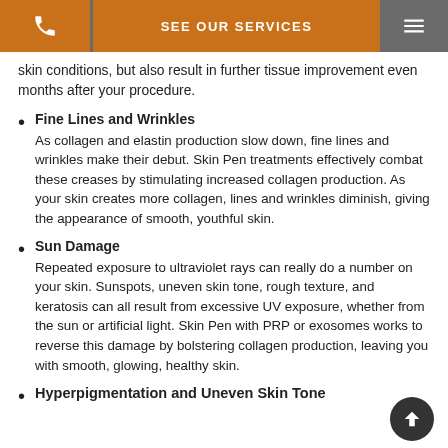SEE OUR SERVICES
skin conditions, but also result in further tissue improvement even months after your procedure.
Fine Lines and Wrinkles
As collagen and elastin production slow down, fine lines and wrinkles make their debut. Skin Pen treatments effectively combat these creases by stimulating increased collagen production. As your skin creates more collagen, lines and wrinkles diminish, giving the appearance of smooth, youthful skin.
Sun Damage
Repeated exposure to ultraviolet rays can really do a number on your skin. Sunspots, uneven skin tone, rough texture, and keratosis can all result from excessive UV exposure, whether from the sun or artificial light. Skin Pen with PRP or exosomes works to reverse this damage by bolstering collagen production, leaving you with smooth, glowing, healthy skin.
Hyperpigmentation and Uneven Skin Tone